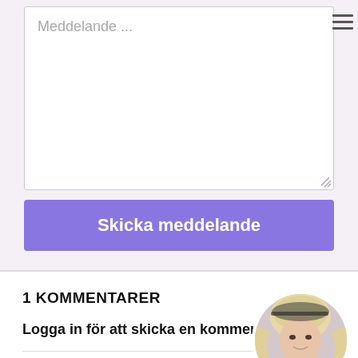[Figure (screenshot): Message input textarea with placeholder text 'Meddelande ...' and a hamburger menu icon in the top right corner]
[Figure (screenshot): Purple 'Skicka meddelande' (Send message) button]
1 KOMMENTARER
Logga in för att skicka en kommentar
[Figure (photo): Circular avatar photo of a blonde woman in black outfit]
#1